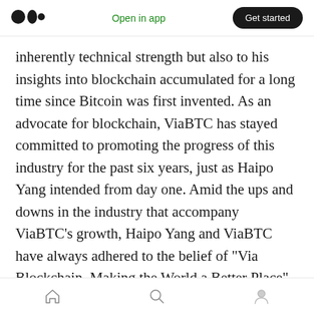Open in app | Get started
inherently technical strength but also to his insights into blockchain accumulated for a long time since Bitcoin was first invented. As an advocate for blockchain, ViaBTC has stayed committed to promoting the progress of this industry for the past six years, just as Haipo Yang intended from day one. Amid the ups and downs in the industry that accompany ViaBTC’s growth, Haipo Yang and ViaBTC have always adhered to the belief of “Via Blockchain, Making the World a Better Place”, and made consistent efforts to realize it.
Home | Search | Profile